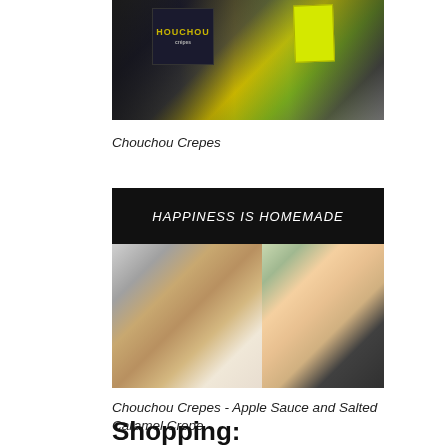[Figure (photo): Photo of Chouchou Crepes food stall with signage, a yellow-green sandwich board and a dark sign reading HOUCHOU]
Chouchou Crepes
[Figure (photo): Photo of a person holding a crepe wrapped in white paper in front of a black banner reading HAPPINESS IS HOMEMADE, with a woman working in the background]
Chouchou Crepes - Apple Sauce and Salted Caramel Crepe
Shopping: